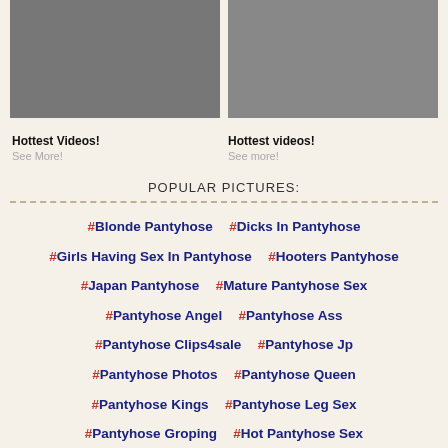[Figure (photo): Two thumbnail images of adult video content side by side]
Hottest Videos!
See More!
Hottest videos!
See more!
POPULAR PICTURES:
#Blonde Pantyhose
#Dicks In Pantyhose
#Girls Having Sex In Pantyhose
#Hooters Pantyhose
#Japan Pantyhose
#Mature Pantyhose Sex
#Pantyhose Angel
#Pantyhose Ass
#Pantyhose Clips4sale
#Pantyhose Jp
#Pantyhose Photos
#Pantyhose Queen
#Pantyhose Kings
#Pantyhose Leg Sex
#Pantyhose Groping
#Hot Pantyhose Sex